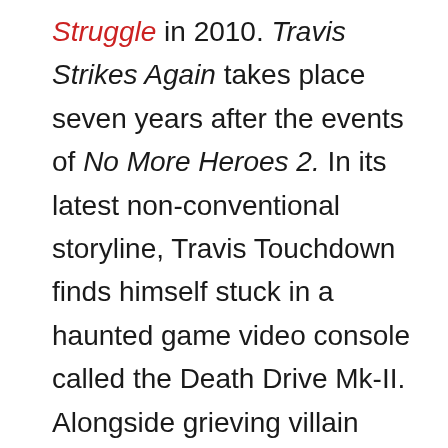Struggle in 2010. Travis Strikes Again takes place seven years after the events of No More Heroes 2. In its latest non-conventional storyline, Travis Touchdown finds himself stuck in a haunted game video console called the Death Drive Mk-II. Alongside grieving villain Badman, Travis must fight his way out of the Death Drive's six different games hack-and-slash style. The game offers co-operative play between the two anti-heroes, with a couple more characters